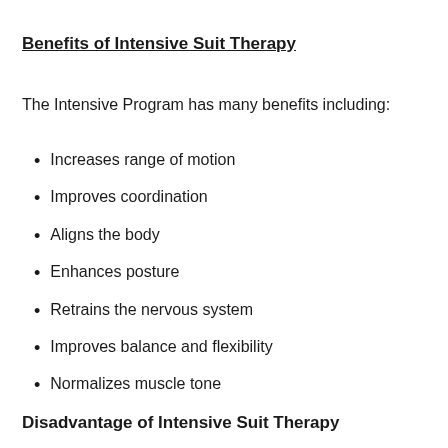Benefits of Intensive Suit Therapy
The Intensive Program has many benefits including:
Increases range of motion
Improves coordination
Aligns the body
Enhances posture
Retrains the nervous system
Improves balance and flexibility
Normalizes muscle tone
Disadvantage of Intensive Suit Therapy